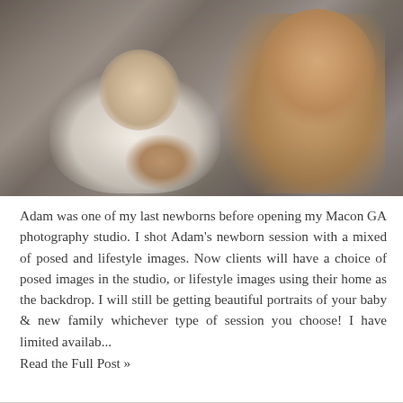[Figure (photo): A smiling toddler lying on a fluffy grey rug, holding a swaddled sleeping newborn baby wrapped in white.]
Adam was one of my last newborns before opening my Macon GA photography studio. I shot Adam's newborn session with a mixed of posed and lifestyle images. Now clients will have a choice of posed images in the studio, or lifestyle images using their home as the backdrop. I will still be getting beautiful portraits of your baby & new family whichever type of session you choose! I have limited availab...
Read the Full Post »